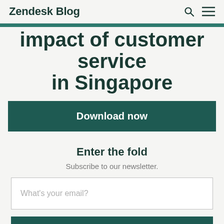Zendesk Blog
impact of customer service in Singapore
Download now
Enter the fold
Subscribe to our newsletter.
What's your email?